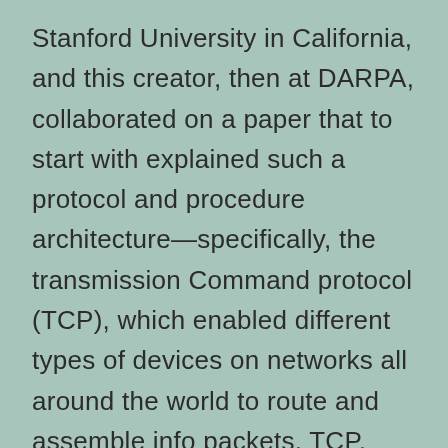Stanford University in California, and this creator, then at DARPA, collaborated on a paper that to start with explained such a protocol and procedure architecture—specifically, the transmission Command protocol (TCP), which enabled different types of devices on networks all around the world to route and assemble info packets. TCP, which at first included the online world protocol (IP), a worldwide addressing system that allowed routers to get info packets for their best place, formed the TCP/IP regular, which was adopted with the U.S. Office of Protection in 1980. By